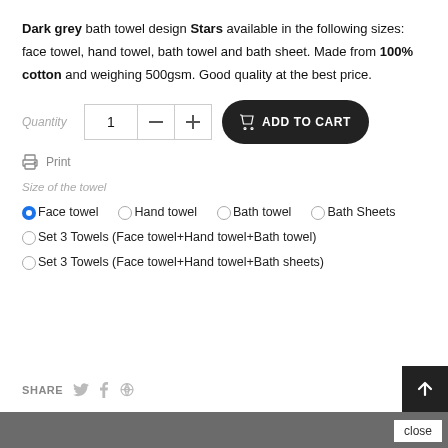Dark grey bath towel design Stars available in the following sizes: face towel, hand towel, bath towel and bath sheet. Made from 100% cotton and weighing 500gsm. Good quality at the best price.
Quantity 1 — ADD TO CART
Print
Size of the towel
Face towel (selected)
Hand towel
Bath towel
Bath Sheets
Set 3 Towels (Face towel+Hand towel+Bath towel)
Set 3 Towels (Face towel+Hand towel+Bath sheets)
SHARE
close